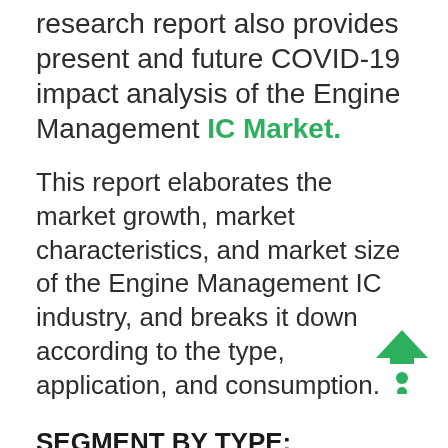research report also provides present and future COVID-19 impact analysis of the Engine Management IC Market.
This report elaborates the market growth, market characteristics, and market size of the Engine Management IC industry, and breaks it down according to the type, application, and consumption.
SEGMENT BY TYPE:
Electric Machinery
Internal-combustion Engine